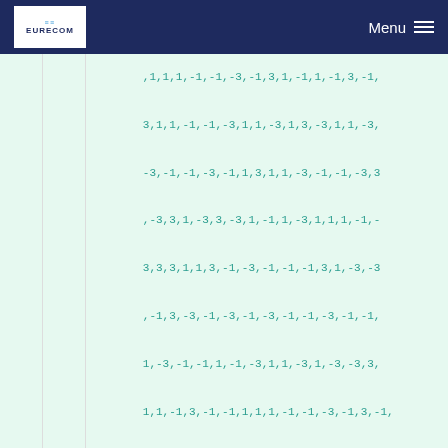EURECOM | Menu
,1,1,1,-1,-1,-3,-1,3,1,-1,1,-1,3,-1,3,1,1,-1,-1,-3,1,1,-3,1,3,-3,1,1,-3,-3,-1,-1,-3,-1,1,3,1,1,-3,-1,-1,-3,3,-3,3,1,-3,3,-3,1,-1,1,-3,1,1,1,-1,-3,3,3,1,1,3,-1,-3,-1,-1,-1,3,1,-3,-3,-1,3,-3,-1,-3,-1,-3,-1,-1,-3,-1,-1,1,-3,-1,-1,1,-1,-3,1,1,-3,1,-3,-3,3,1,1,-1,3,-1,-1,1,1,1,-1,-1,-3,-1,3,-1,3,-1,1,3,1,-1,3,1,3,-3,-3,1,-1,-1,1,3
};

void generate_ul_ref_sigs(void)
@@ -127,7 +129,7 @@ void generate_ul_ref_sigs_rx(void)
     for (u=0; u<30; u++) {
        for (v=0; v<2; v++) {
          qbar = ref_primes[Msc_RS] * (u+1)/(double)31;
-         ul_ref_sigs_rx[u][v][Msc_RS] =